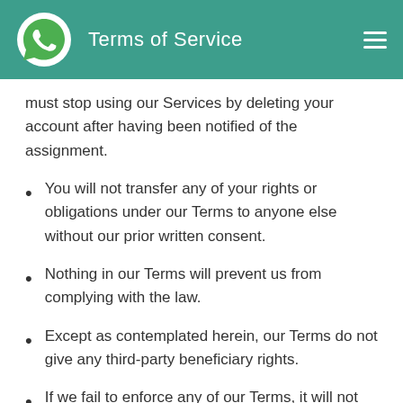Terms of Service
must stop using our Services by deleting your account after having been notified of the assignment.
You will not transfer any of your rights or obligations under our Terms to anyone else without our prior written consent.
Nothing in our Terms will prevent us from complying with the law.
Except as contemplated herein, our Terms do not give any third-party beneficiary rights.
If we fail to enforce any of our Terms, it will not be considered a waiver.
If any provision of these Terms is found to